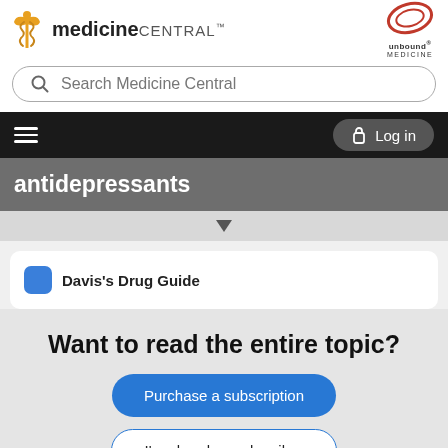medicine CENTRAL™   unbound MEDICINE
Search Medicine Central
Log in
antidepressants
Davis's Drug Guide
Want to read the entire topic?
Purchase a subscription
I'm already a subscriber
Browse sample topics